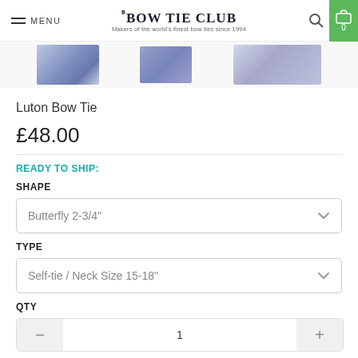THE BOW TIE CLUB - Makers of the world's finest bow ties since 1994
[Figure (photo): Three product thumbnail images of Luton Bow Tie in blue/grey tones]
Luton Bow Tie
£48.00
READY TO SHIP:
SHAPE
Butterfly 2-3/4"
TYPE
Self-tie / Neck Size 15-18"
QTY
1